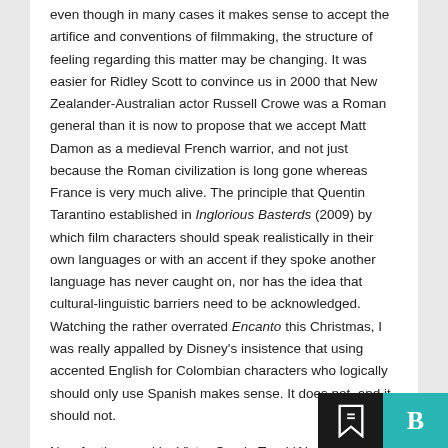even though in many cases it makes sense to accept the artifice and conventions of filmmaking, the structure of feeling regarding this matter may be changing. It was easier for Ridley Scott to convince us in 2000 that New Zealander-Australian actor Russell Crowe was a Roman general than it is now to propose that we accept Matt Damon as a medieval French warrior, and not just because the Roman civilization is long gone whereas France is very much alive. The principle that Quentin Tarantino established in Inglorious Basterds (2009) by which film characters should speak realistically in their own languages or with an accent if they spoke another language has never caught on, nor has the idea that cultural-linguistic barriers need to be acknowledged. Watching the rather overrated Encanto this Christmas, I was really appalled by Disney's insistence that using accented English for Colombian characters who logically should only use Spanish makes sense. It does not, and it should not.
Now for the novel by Victor Garcia Tur, L'Aigua qu...